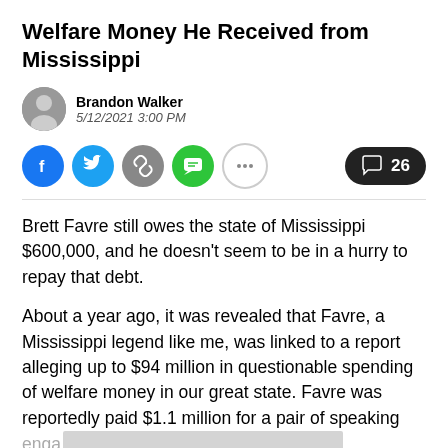Welfare Money He Received from Mississippi
Brandon Walker
5/12/2021 3:00 PM
[Figure (infographic): Social sharing buttons: Facebook (blue), Twitter (blue), link/copy (gray), SMS (green), more (white outlined circle), and a comment button showing 26 comments]
Brett Favre still owes the state of Mississippi $600,000, and he doesn't seem to be in a hurry to repay that debt.
About a year ago, it was revealed that Favre, a Mississippi legend like me, was linked to a report alleging up to $94 million in questionable spending of welfare money in our great state. Favre was reportedly paid $1.1 million for a pair of speaking engagements...